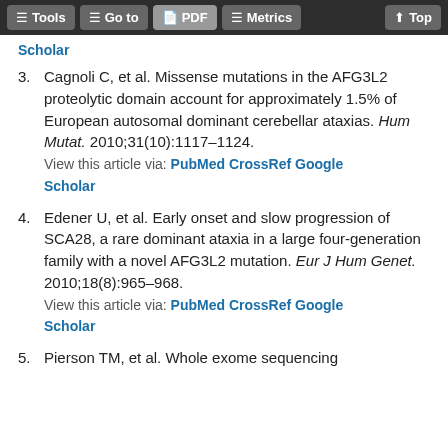Tools | Go to | PDF | Metrics | Top
Scholar
3. Cagnoli C, et al. Missense mutations in the AFG3L2 proteolytic domain account for approximately 1.5% of European autosomal dominant cerebellar ataxias. Hum Mutat. 2010;31(10):1117–1124. View this article via: PubMed CrossRef Google Scholar
4. Edener U, et al. Early onset and slow progression of SCA28, a rare dominant ataxia in a large four-generation family with a novel AFG3L2 mutation. Eur J Hum Genet. 2010;18(8):965–968. View this article via: PubMed CrossRef Google Scholar
5. Pierson TM, et al. Whole exome sequencing